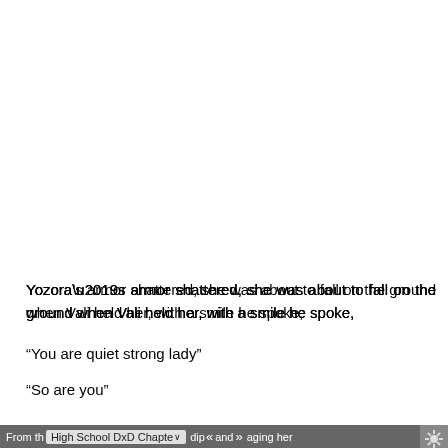Yozora’s armor shattered, she was about to fall on the ground when Vali held her, with a smile he spoke,
“You are quiet strong lady”
“So are you”
...
From the High School DxD Chapter ∨ dip« and » aging her